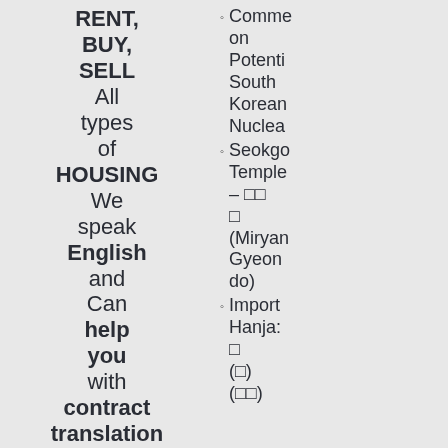RENT, BUY, SELL All types of HOUSING We speak English and Can help you with contract translation and landlord
Comme on Potenti South Korean Nuclear
Seokgo Temple – □□ □ (Miryan Gyeon do)
Import Hanja: □ (□) (□□)